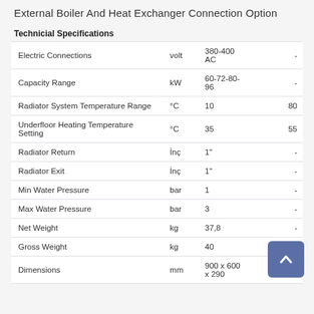External Boiler And Heat Exchanger Connection Option
Technicial Specifications
|  | Unit | Min / Value | Max |
| --- | --- | --- | --- |
| Electric Connections | volt | 380-400 AC | - |
| Capacity Range | kW | 60-72-80-96 | - |
| Radiator System Temperature Range | °C | 10 | 80 |
| Underfloor Heating Temperature Setting | °C | 35 | 55 |
| Radiator Return | İnç | 1" | - |
| Radiator Exit | İnç | 1" | - |
| Min Water Pressure | bar | 1 | - |
| Max Water Pressure | bar | 3 | - |
| Net Weight | kg | 37,8 | - |
| Gross Weight | kg | 40 | - |
| Dimensions | mm | 900 x 600 x 290 | - |